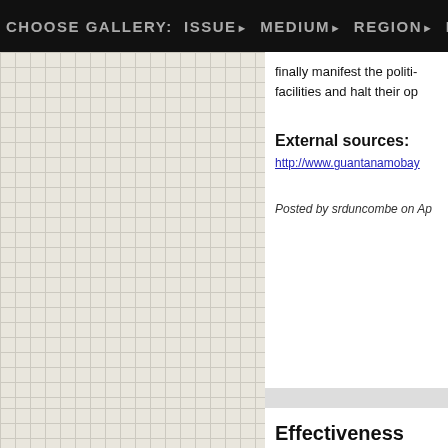CHOOSE GALLERY: ISSUE▶ MEDIUM▶ REGION▶ HOW IT WORKS▶
[Figure (other): Graph paper grid background panel on left side]
finally manifest the politi- facilities and halt their op
External sources:
http://www.guantanamobay...
Posted by srduncombe on Ap
Effectiveness
How does this project he
Activates (people)
Amplifies (issue or campaign
Strengthens (community)
Shifts (culture)